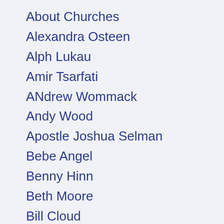About Churches
Alexandra Osteen
Alph Lukau
Amir Tsarfati
ANdrew Wommack
Andy Wood
Apostle Joshua Selman
Bebe Angel
Benny Hinn
Beth Moore
Bill Cloud
Bill Johnson